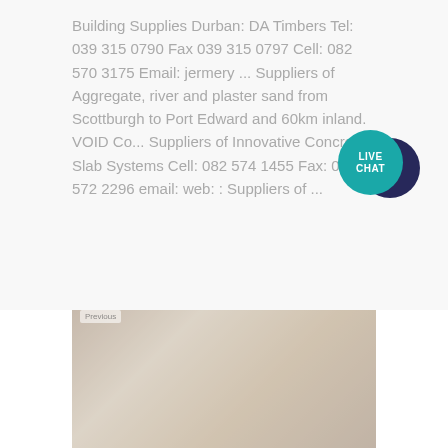Building Supplies Durban: DA Timbers Tel: 039 315 0790 Fax 039 315 0797 Cell: 082 570 3175 Email: jermery ... Suppliers of Aggregate, river and plaster sand from Scottburgh to Port Edward and 60km inland. VOID Co... Suppliers of Innovative Concrete Slab Systems Cell: 082 574 1455 Fax: 086 572 2296 email: web: : Suppliers of ...
[Figure (other): Live Chat widget — a teal circular button with 'LIVE CHAT' text overlapping a dark navy circle, representing a live chat UI element]
[Figure (other): A light yellow/cream rectangular button with the text 'GET PRICE' in muted gold/tan uppercase letters]
[Figure (photo): A faded, low-contrast photograph at the bottom of the page showing what appears to be building/construction materials or a construction site scene]